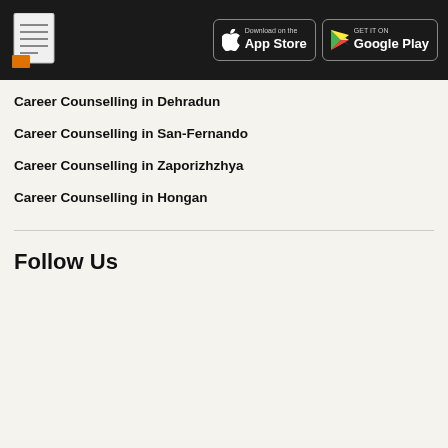App Store / Google Play header with logo
Career Counselling in Dehradun
Career Counselling in San-Fernando
Career Counselling in Zaporizhzhya
Career Counselling in Hongan
Follow Us